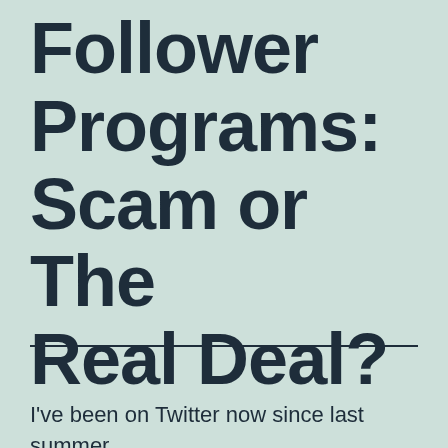Follower Programs: Scam or The Real Deal?
I've been on Twitter now since last summer